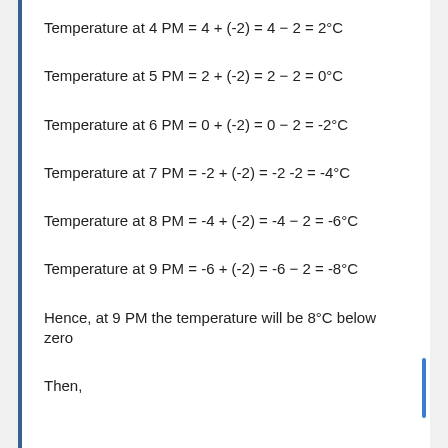Temperature at 4 PM = 4 + (-2) = 4 − 2 = 2°C
Temperature at 5 PM = 2 + (-2) = 2 − 2 = 0°C
Temperature at 6 PM = 0 + (-2) = 0 − 2 = -2°C
Temperature at 7 PM = -2 + (-2) = -2 -2 = -4°C
Temperature at 8 PM = -4 + (-2) = -4 − 2 = -6°C
Temperature at 9 PM = -6 + (-2) = -6 − 2 = -8°C
Hence, at 9 PM the temperature will be 8°C below zero
Then,